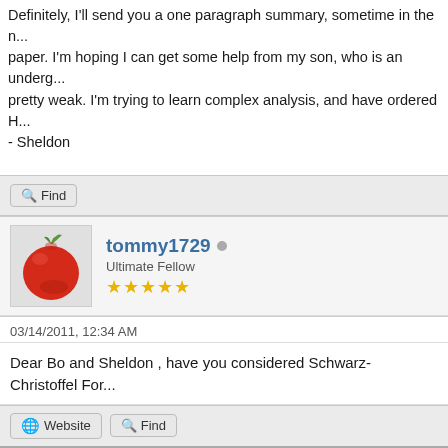Definitely, I'll send you a one paragraph summary, sometime in the n... paper. I'm hoping I can get some help from my son, who is an underg... pretty weak. I'm trying to learn complex analysis, and have ordered H... - Sheldon
tommy1729 • Ultimate Fellow ★★★★★
03/14/2011, 12:34 AM
Dear Bo and Sheldon , have you considered Schwarz-Christoffel For...
sheldonison • Long Time Fellow ★★★★